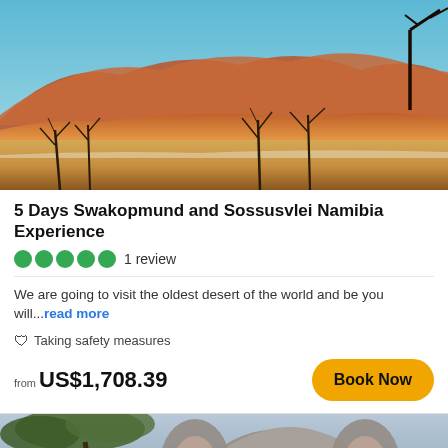[Figure (photo): Desert landscape with red-orange sand dunes, dead acacia trees in foreground, blue sky above — Sossusvlei, Namibia]
5 Days Swakopmund and Sossusvlei Namibia Experience
1 review
We are going to visit the oldest desert of the world and be you will...read more
Taking safety measures
from US$1,708.39
[Figure (photo): Close-up front view of an elephant head, grey sky and tree branch in background]